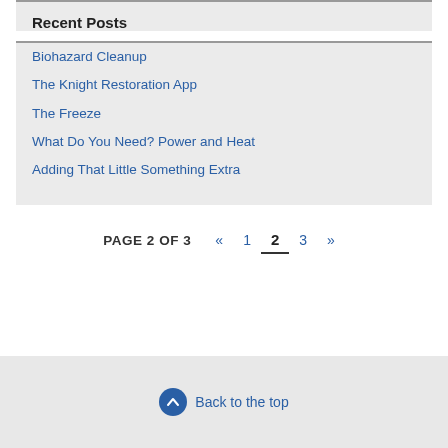Recent Posts
Biohazard Cleanup
The Knight Restoration App
The Freeze
What Do You Need? Power and Heat
Adding That Little Something Extra
PAGE 2 OF 3  «  1  2  3  »
Back to the top